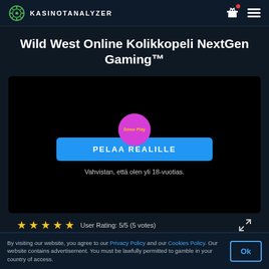KASINOTANALYZER
Wild West Online Kolikkopeli NextGen Gaming™
[Figure (screenshot): Game preview area showing a black background with a pink/magenta circular demo play button labeled 'Demo Play', a blue 'PELAA REALILLE' button, and confirmation text 'Vahvistan, että olen yli 18-vuotias.' Below the frame are 5 gold stars and the text 'User Rating: 5/5 (5 votes)' with an expand icon.]
By visiting our website, you agree to our Privacy Policy and our Cookies Policy. Our website contains advertisement. You must be lawfully permitted to gamble in your country of access.